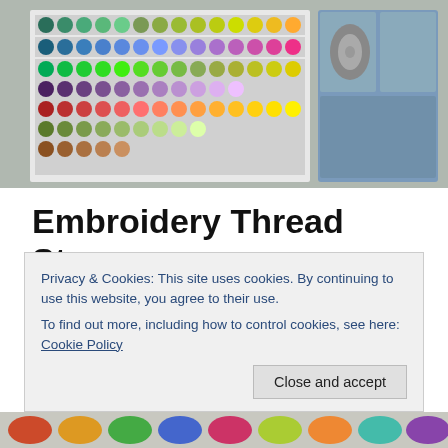[Figure (photo): Photo of embroidery thread storage — colorful bobbins/skeins arranged in a white rack and blue divided box organizer, viewed from above.]
Embroidery Thread Storage
I am being totally honest my embroidery thread has been living in storage boxes in a shopping bag in the centre of my loungeroom for years. It was right next to where I sit on the lounge and was handy to access when I was in front of the tv but really it shouldn't have been living there. I am in
Privacy & Cookies: This site uses cookies. By continuing to use this website, you agree to their use.
To find out more, including how to control cookies, see here: Cookie Policy
Close and accept
[Figure (photo): Partial photo at the bottom showing colorful embroidery thread bobbins in various colors including red, yellow, green, blue.]